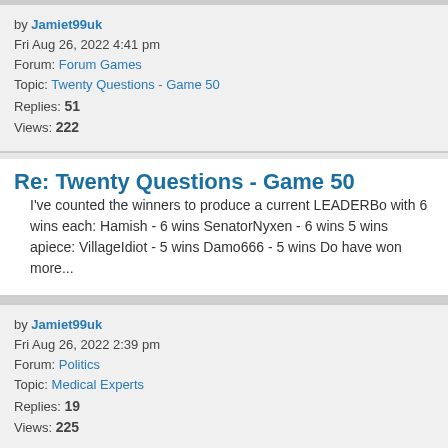by Jamiet99uk
Fri Aug 26, 2022 4:41 pm
Forum: Forum Games
Topic: Twenty Questions - Game 50
Replies: 51
Views: 222
Re: Twenty Questions - Game 50
I've counted the winners to produce a current LEADERBO with 6 wins each: Hamish - 6 wins SenatorNyxen - 6 wins 5 wins apiece: VillageIdiot - 5 wins Damo666 - 5 wins Do have won more...
by Jamiet99uk
Fri Aug 26, 2022 2:39 pm
Forum: Politics
Topic: Medical Experts
Replies: 19
Views: 225
Re: Medical Experts
What nonsense are you talking about? "Big pharma" had